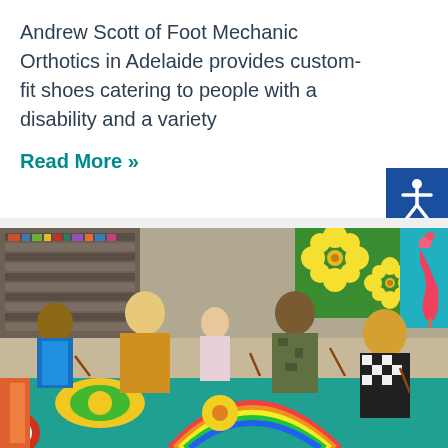Andrew Scott of Foot Mechanic Orthotics in Adelaide provides custom-fit shoes catering to people with a disability and a variety
Read More »
[Figure (photo): A group of children and a young woman with blonde hair sitting around a table doing a painting/art activity in what appears to be a library or art studio. Colorful paintings of flowers and a flamingo are visible in the background. The table has colorful artwork on it.]